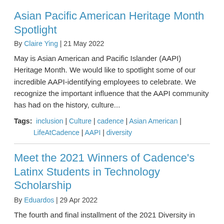Asian Pacific American Heritage Month Spotlight
By Claire Ying | 21 May 2022
May is Asian American and Pacific Islander (AAPI) Heritage Month. We would like to spotlight some of our incredible AAPI-identifying employees to celebrate. We recognize the important influence that the AAPI community has had on the history, culture...
Tags: inclusion | Culture | cadence | Asian American | LifeAtCadence | AAPI | diversity
Meet the 2021 Winners of Cadence's Latinx Students in Technology Scholarship
By Eduardos | 29 Apr 2022
The fourth and final installment of the 2021 Diversity in